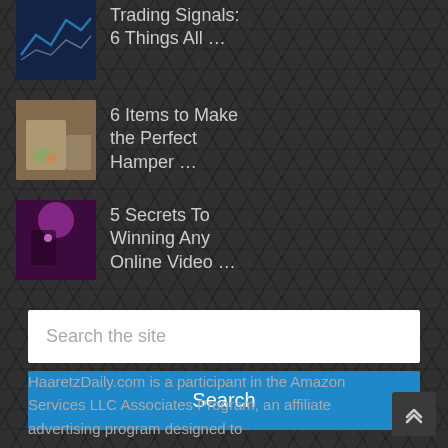Trading Signals: 6 Things All …
6 Items to Make the Perfect Hamper …
5 Secrets To Winning Any Online Video …
Search the site
Search
HaaretzDaily.com is a participant in the Amazon Services LLC Associates Program, an affiliate advertising program designed to